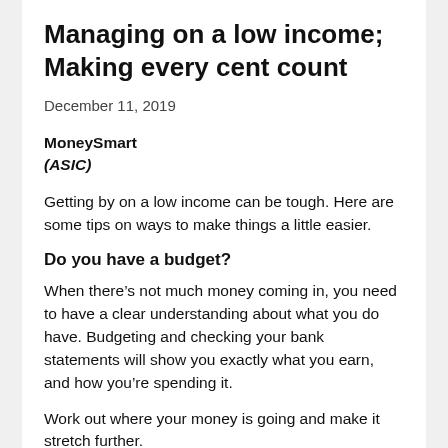Managing on a low income; Making every cent count
December 11, 2019
MoneySmart
(ASIC)
Getting by on a low income can be tough. Here are some tips on ways to make things a little easier.
Do you have a budget?
When there’s not much money coming in, you need to have a clear understanding about what you do have. Budgeting and checking your bank statements will show you exactly what you earn, and how you’re spending it.
Work out where your money is going and make it stretch further.